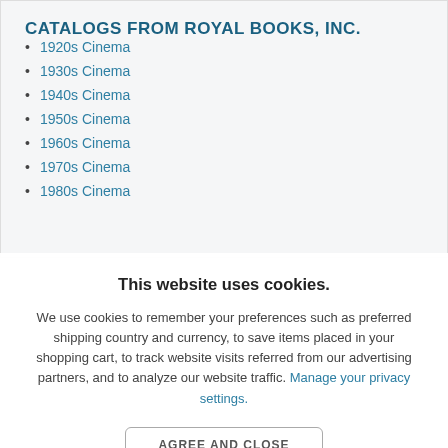CATALOGS FROM ROYAL BOOKS, INC.
1920s Cinema
1930s Cinema
1940s Cinema
1950s Cinema
1960s Cinema
1970s Cinema
1980s Cinema
This website uses cookies.
We use cookies to remember your preferences such as preferred shipping country and currency, to save items placed in your shopping cart, to track website visits referred from our advertising partners, and to analyze our website traffic. Manage your privacy settings.
AGREE AND CLOSE